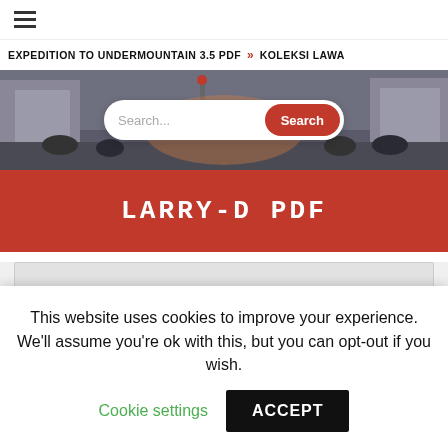☰
EXPEDITION TO UNDERMOUNTAIN 3.5 PDF » KOLEKSI LAWA
[Figure (photo): City street scene with pedestrians and buildings, used as hero background image]
LARRY-D PDF
This website uses cookies to improve your experience. We'll assume you're ok with this, but you can opt-out if you wish.
Cookie settings   ACCEPT